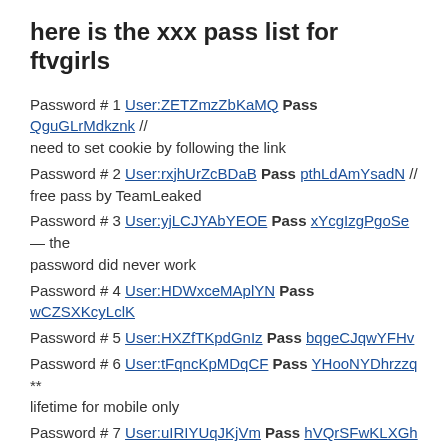here is the xxx pass list for ftvgirls
Password # 1 User:ZETZmzZbKaMQ Pass QguGLrMdkznk // need to set cookie by following the link
Password # 2 User:rxjhUrZcBDaB Pass pthLdAmYsadN // free pass by TeamLeaked
Password # 3 User:yjLCJYAbYEOE Pass xYcgIzgPgoSe — the password did never work
Password # 4 User:HDWxceMAplYN Pass wCZSXKcyLclK
Password # 5 User:HXZfTKpdGnIz Pass bqgeCJqwYFHv
Password # 6 User:tFqncKpMDqCF Pass YHooNYDhrzzq ** lifetime for mobile only
Password # 7 User:uIRIYUqJKjVm Pass hVQrSFwKLXGh this pass has been reported working
Password # 8 User:tcPgVOCXYbel Pass neXuvszjNVuK // password is 0 day !!
This entry was posted in MAY 2013 and tagged ftvgirls passes on